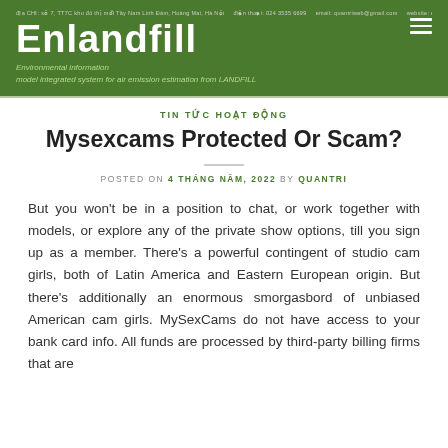Enlandfill — Environmental information model integrated system for air emission estimation from LANDFILL
TIN TỨC HOẠT ĐỘNG
Mysexcams Protected Or Scam?
POSTED ON 4 THÁNG NĂM, 2022 BY QUANTRI
But you won't be in a position to chat, or work together with models, or explore any of the private show options, till you sign up as a member. There's a powerful contingent of studio cam girls, both of Latin America and Eastern European origin. But there's additionally an enormous smorgasbord of unbiased American cam girls. MySexCams do not have access to your bank card info. All funds are processed by third-party billing firms that are